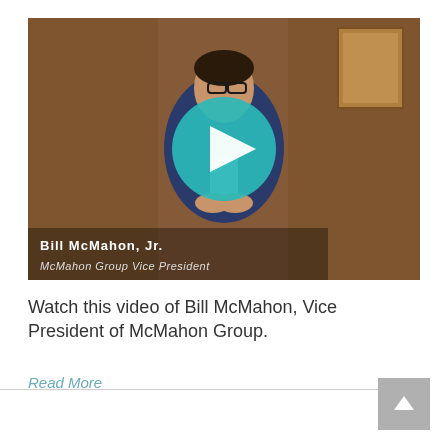[Figure (screenshot): Video thumbnail showing Bill McMahon Jr., McMahon Group Vice President, seated in a wood-paneled room wearing a blue suit. A teal circular play button overlay is centered on the image. Lower-left text reads 'Bill McMahon, Jr.' and 'McMahon Group Vice President'.]
Watch this video of Bill McMahon, Vice President of McMahon Group.
Read More